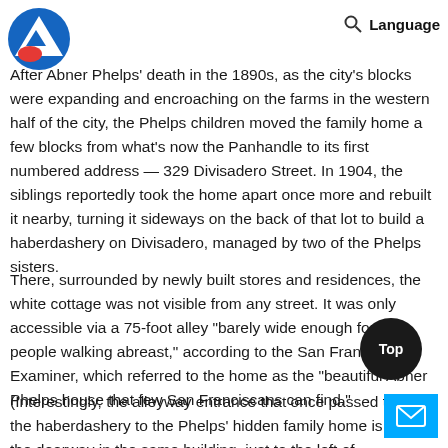After Abner Phelps' death in the 1890s, as the city's blocks were expanding and encroaching on the farms in the western half of the city, the Phelps children moved the family home a few blocks from what's now the Panhandle to its first numbered address — 329 Divisadero Street. In 1904, the siblings reportedly took the home apart once more and rebuilt it nearby, turning it sideways on the back of that lot to build a haberdashery on Divisadero, managed by two of the Phelps sisters.
There, surrounded by newly built stores and residences, the white cottage was not visible from any street. It was only accessible via a 75-foot alley "barely wide enough for two people walking abreast," according to the San Francisco Examiner, which referred to the home as the "beautiful Abner Phelps house that few San Franciscans can find."
(Interestingly, the alleyway entrance that once passed through the haberdashery to the Phelps' hidden family home is now the doorway in the same building, just to the left of Gamescape, at